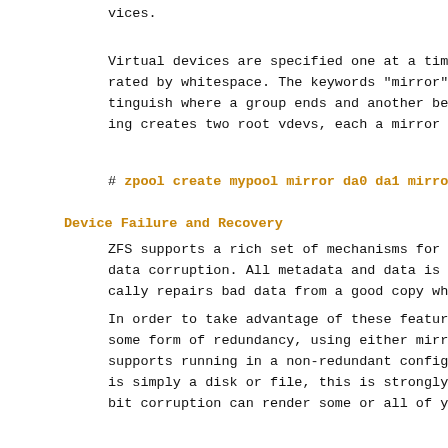vices.
Virtual devices are specified one at a time c rated by whitespace. The keywords "mirror" ar tinguish where a group ends and another begin ing creates two root vdevs, each a mirror of
#  zpool create mypool mirror da0 da1 mirror
Device Failure and Recovery
ZFS supports a rich set of mechanisms for har data corruption. All metadata and data is che cally repairs bad data from a good copy when
In order to take advantage of these features, some form of redundancy, using either mirrore supports running in a non-redundant configura is simply a disk or file, this is strongly di bit corruption can render some or all of your
A pool's health status is described by one of graded, or faulted. An online pool has all de degraded pool is one in which one or more dev data is still available due to a redundant co has corrupted metadata, or one or more faulte replicas to continue functioning.
The health of the top-level vdev, such as mir